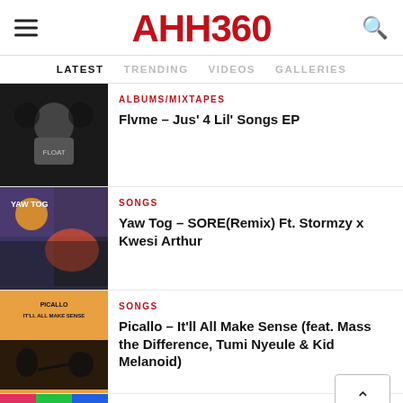AHH360
LATEST | TRENDING | VIDEOS | GALLERIES
ALBUMS/MIXTAPES
Flvme – Jus' 4 Lil' Songs EP
SONGS
Yaw Tog – SORE(Remix) Ft. Stormzy x Kwesi Arthur
SONGS
Picallo – It'll All Make Sense (feat. Mass the Difference, Tumi Nyeule & Kid Melanoid)
SONGS